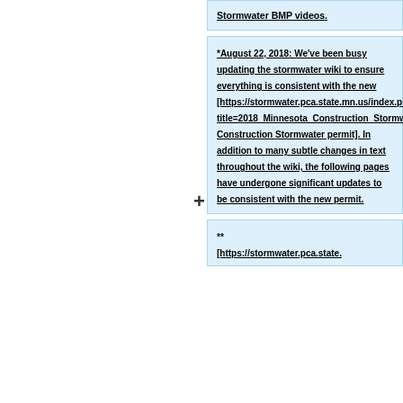Stormwater BMP videos.
*August 22, 2018: We’ve been busy updating the stormwater wiki to ensure everything is consistent with the new [https://stormwater.pca.state.mn.us/index.php?title=2018_Minnesota_Construction_Stormwater_Permit Construction Stormwater permit]. In addition to many subtle changes in text throughout the wiki, the following pages have undergone significant updates to be consistent with the new permit.
** [https://stormwater.pca.state.